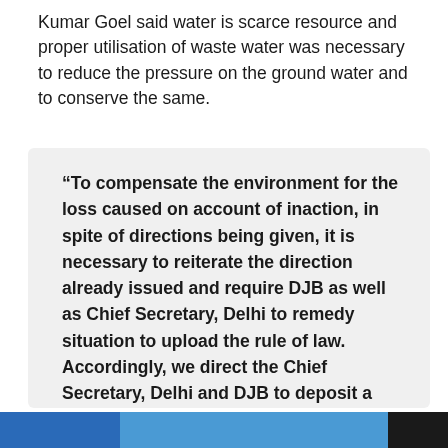Kumar Goel said water is scarce resource and proper utilisation of waste water was necessary to reduce the pressure on the ground water and to conserve the same.
“To compensate the environment for the loss caused on account of inaction, in spite of directions being given, it is necessary to reiterate the direction already issued and require DJB as well as Chief Secretary, Delhi to remedy situation to upload the rule of law. Accordingly, we direct the Chief Secretary, Delhi and DJB to deposit a sum of Rs 1 crore each with the CPCB for loss caused to the environment and to